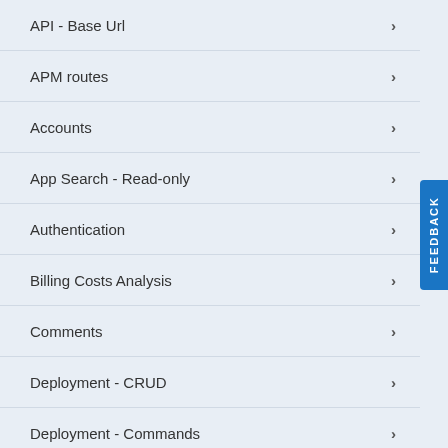API - Base Url
APM routes
Accounts
App Search - Read-only
Authentication
Billing Costs Analysis
Comments
Deployment - CRUD
Deployment - Commands
Deployment - Diagnostics
Deployment - Info
Deployment - Remote Clusters
Deployment - Trust